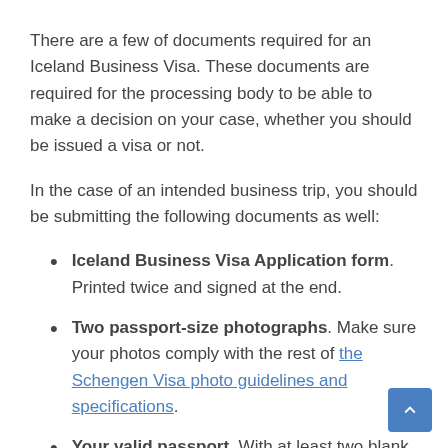There are a few of documents required for an Iceland Business Visa. These documents are required for the processing body to be able to make a decision on your case, whether you should be issued a visa or not.
In the case of an intended business trip, you should be submitting the following documents as well:
Iceland Business Visa Application form. Printed twice and signed at the end.
Two passport-size photographs. Make sure your photos comply with the rest of the Schengen Visa photo guidelines and specifications.
Your valid passport. With at least two blank pages and a minimum validity of three more months beyond the